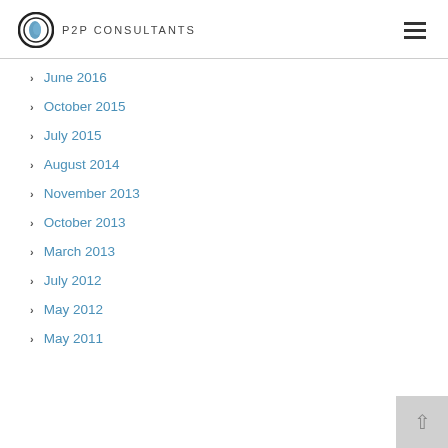P2P CONSULTANTS
June 2016
October 2015
July 2015
August 2014
November 2013
October 2013
March 2013
July 2012
May 2012
May 2011